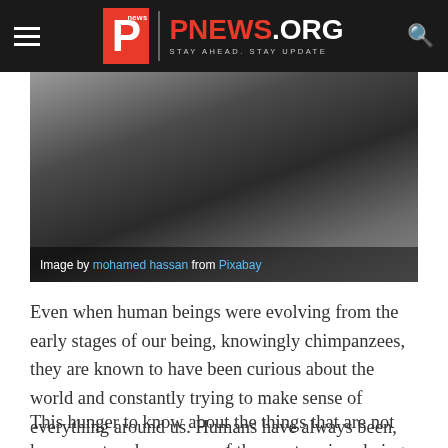PNEWS.ORG — STAY AHEAD. STAY UPDATE
[Figure (photo): Photo of a person sitting on a couch with a laptop. Caption reads: Image by mohamed hassan from Pixabay]
Image by mohamed hassan from Pixabay
Even when human beings were evolving from the early stages of our being, knowingly chimpanzees, they are known to have been curious about the world and constantly trying to make sense of everything around us. Humans have always been, and continue to be thirsty for knowledge.
This hunger to know about the things that are not known yet makes us one of the most curious beings on the planet. Not only does